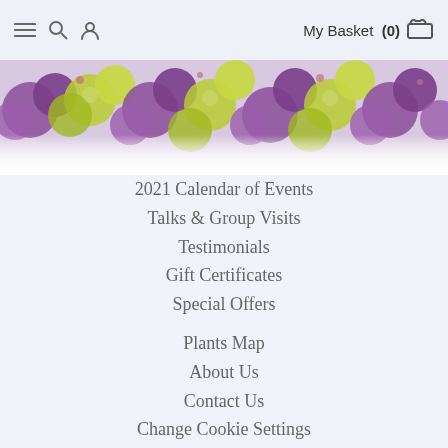My Basket (0)
[Figure (photo): Decorative banner of purple and yellow-green flowers across the top of the page]
2021 Calendar of Events
Talks & Group Visits
Testimonials
Gift Certificates
Special Offers
Plants Map
About Us
Contact Us
Change Cookie Settings
Terms & Conditions
How to find us & Visiting The Nursery